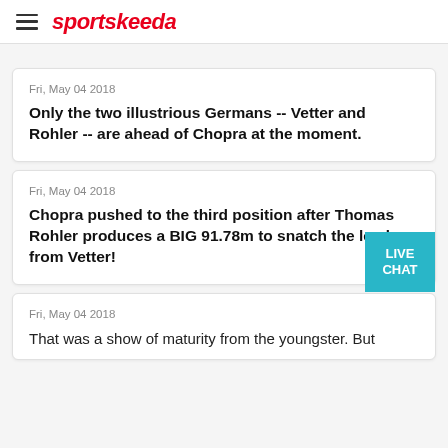sportskeeda
Fri, May 04 2018
Only the two illustrious Germans -- Vetter and Rohler -- are ahead of Chopra at the moment.
Fri, May 04 2018
Chopra pushed to the third position after Thomas Rohler produces a BIG 91.78m to snatch the lead from Vetter!
Fri, May 04 2018
That was a show of maturity from the youngster. But